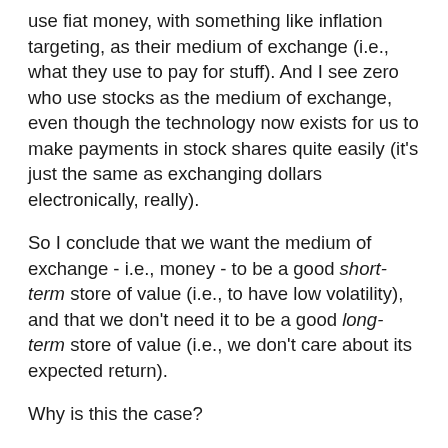use fiat money, with something like inflation targeting, as their medium of exchange (i.e., what they use to pay for stuff). And I see zero who use stocks as the medium of exchange, even though the technology now exists for us to make payments in stock shares quite easily (it's just the same as exchanging dollars electronically, really).
So I conclude that we want the medium of exchange - i.e., money - to be a good short-term store of value (i.e., to have low volatility), and that we don't need it to be a good long-term store of value (i.e., we don't care about its expected return).
Why is this the case?
It makes sense if you think about the way that we use money. People don't know exactly when they are going to need to spend money, or how much. If they keep their wealth in assets with high expected returns and high volatility - stocks, etc. - they run the risk of having to sell in a down market in order to pay for unexpected expenses. So it makes sense to keep some of their wealth in a low-volatility, low-